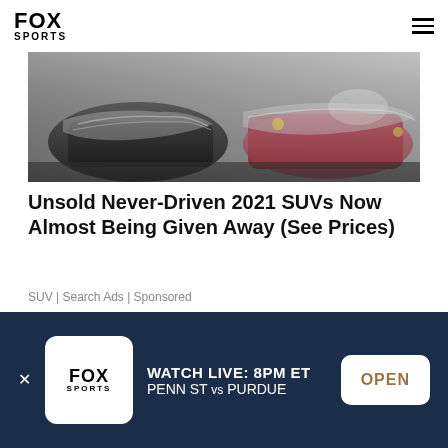FOX SPORTS
[Figure (photo): Cars wrapped in plastic/protective covering in a dealership or storage area]
Unsold Never-Driven 2021 SUVs Now Almost Being Given Away (See Prices)
SUV | Search Ads | Sponsored
[Figure (photo): Aerial view of a large lot filled with many parked cars]
WATCH LIVE: 8PM ET PENN ST vs PURDUE